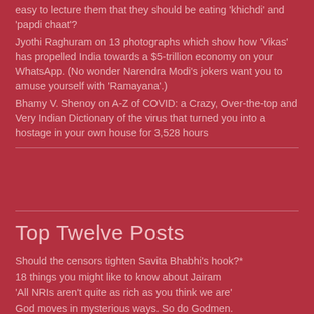easy to lecture them that they should be eating ‘khichdi’ and ‘papdi chaat’?
Jyothi Raghuram on 13 photographs which show how ‘Vikas’ has propelled India towards a $5-trillion economy on your WhatsApp. (No wonder Narendra Modi’s jokers want you to amuse yourself with ‘Ramayana’.)
Bhamy V. Shenoy on A-Z of COVID: a Crazy, Over-the-top and Very Indian Dictionary of the virus that turned you into a hostage in your own house for 3,528 hours
Top Twelve Posts
Should the censors tighten Savita Bhabhi's hook?*
18 things you might like to know about Jairam
'All NRIs aren't quite as rich as you think we are'
God moves in mysterious ways. So do Godmen.